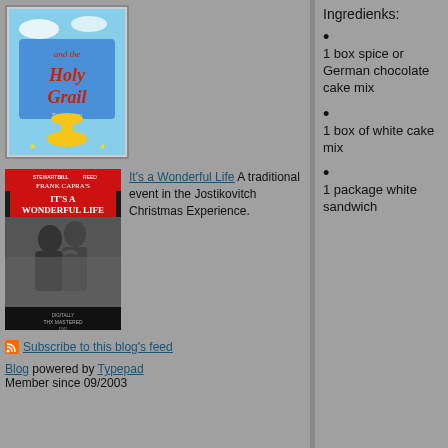[Figure (photo): Movie poster for Monty Python and the Holy Grail]
It's a Wonderful Life
A traditional event in the Jostikovitch Christmas Experience.
[Figure (photo): Movie poster for It's a Wonderful Life]
Subscribe to this blog's feed
Blog powered by Typepad
Member since 09/2003
Ingredienks:
1 box spice or German chocolate cake mix
1 box of white cake mix
1 package white sandwich